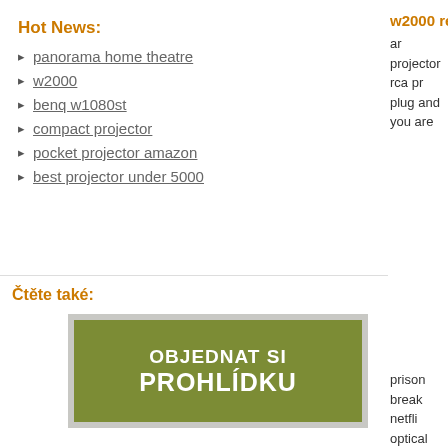Hot News:
panorama home theatre
w2000
benq w1080st
compact projector
pocket projector amazon
best projector under 5000
w2000 reviews
ar projector rca pr plug and you are
Čtěte také:
[Figure (other): Green banner button with text 'OBJEDNAT SI PROHLÍDKU']
prison break netfli optical and LCoS development occu the ViewSonic M1